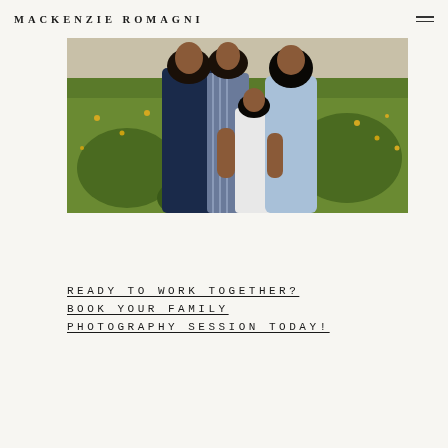MACKENZIE ROMAGNI
[Figure (photo): Family photo session in a wildflower field. A family of four (two adults, a boy in a white shirt, and a girl in a light blue dress) embracing outdoors among green and yellow wildflowers.]
READY TO WORK TOGETHER? BOOK YOUR FAMILY PHOTOGRAPHY SESSION TODAY!